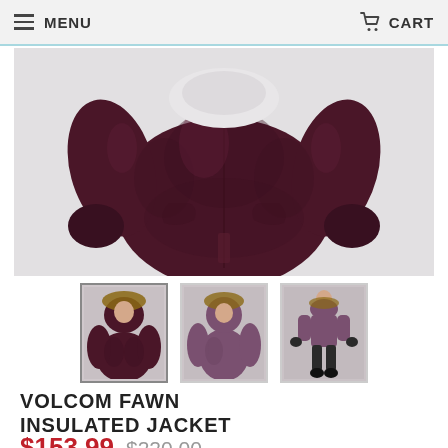MENU   CART
[Figure (photo): Main product photo of a dark burgundy/wine colored Volcom Fawn Insulated Jacket, showing the back torso and arms of the jacket on a light grey background]
[Figure (photo): Three product thumbnail images: first shows jacket front with fur-trimmed hood (dark burgundy), second shows side/back view (muted purple), third shows full-body model wearing the jacket]
VOLCOM FAWN INSULATED JACKET
$153.99 $220.00